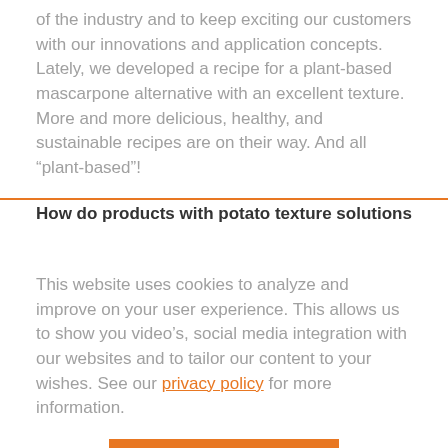of the industry and to keep exciting our customers with our innovations and application concepts. Lately, we developed a recipe for a plant-based mascarpone alternative with an excellent texture. More and more delicious, healthy, and sustainable recipes are on their way. And all “plant-based”!
How do products with potato texture solutions
This website uses cookies to analyze and improve on your user experience. This allows us to show you video’s, social media integration with our websites and to tailor our content to your wishes. See our privacy policy for more information.
Yes, please! ›
No, thanks